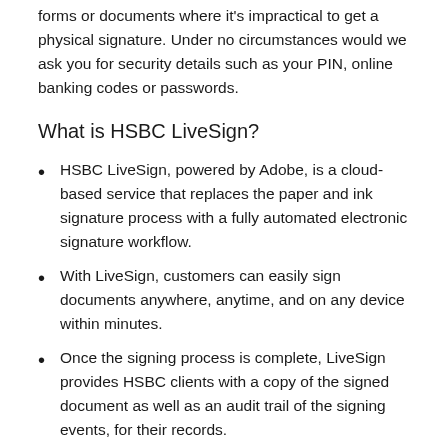forms or documents where it's impractical to get a physical signature. Under no circumstances would we ask you for security details such as your PIN, online banking codes or passwords.
What is HSBC LiveSign?
HSBC LiveSign, powered by Adobe, is a cloud-based service that replaces the paper and ink signature process with a fully automated electronic signature workflow.
With LiveSign, customers can easily sign documents anywhere, anytime, and on any device within minutes.
Once the signing process is complete, LiveSign provides HSBC clients with a copy of the signed document as well as an audit trail of the signing events, for their records.